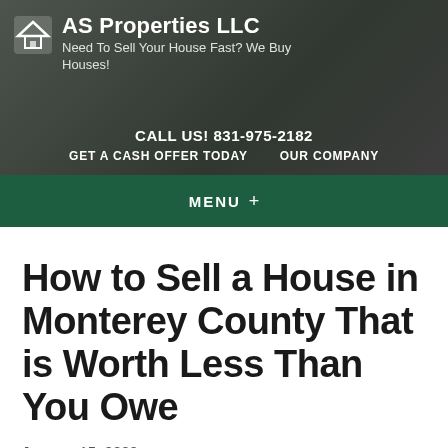AS Properties LLC
Need To Sell Your House Fast? We Buy Houses!
CALL US! 831-975-2182
GET A CASH OFFER TODAY   OUR COMPANY
MENU +
How to Sell a House in Monterey County That is Worth Less Than You Owe
January 15, 2022